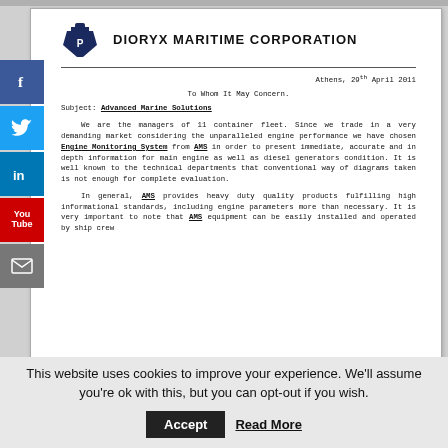[Figure (logo): Dioryx Maritime Corporation logo: dark blue ship/buoy icon with letter P]
DIORYX MARITIME CORPORATION
Athens, 29th April 2011
To Whom It May Concern.
Subject: Advanced Marine Solutions
We are the managers of 11 container fleet. Since we trade in a very demanding market considering the unparalleled engine performance we have chosen Engine Monitoring System from AMS in order to present immediate, accurate and in depth information for main engine as well as diesel generators condition. It is well known to the technical departments that conventional way of diagrams taken is not enough for complete evaluation.
In general, AMS provides heavy duty quality products fulfilling high informational standards, including engine parameters more than necessary. It is very important to note that AMS equipment can be easily installed and operated by ship crew
This website uses cookies to improve your experience. We'll assume you're ok with this, but you can opt-out if you wish.
Accept   Read More